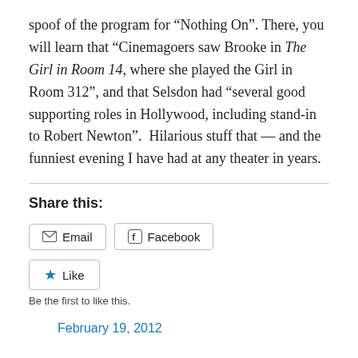spoof of the program for “Nothing On”. There, you will learn that “Cinemagoers saw Brooke in The Girl in Room 14, where she played the Girl in Room 312”, and that Selsdon had “several good supporting roles in Hollywood, including stand-in to Robert Newton”.  Hilarious stuff that — and the funniest evening I have had at any theater in years.
Share this:
Email   Facebook
Like
Be the first to like this.
February 19, 2012